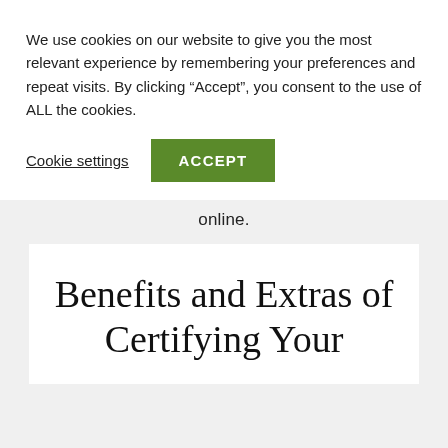We use cookies on our website to give you the most relevant experience by remembering your preferences and repeat visits. By clicking “Accept”, you consent to the use of ALL the cookies.
Cookie settings  ACCEPT
online.
Benefits and Extras of Certifying Your